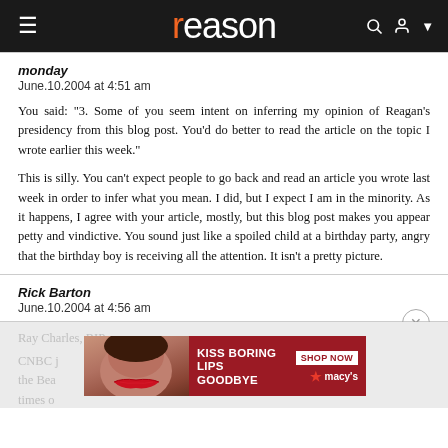reason
monday
June.10.2004 at 4:51 am

You said: "3. Some of you seem intent on inferring my opinion of Reagan's presidency from this blog post. You'd do better to read the article on the topic I wrote earlier this week."

This is silly. You can't expect people to go back and read an article you wrote last week in order to infer what you mean. I did, but I expect I am in the minority. As it happens, I agree with your article, mostly, but this blog post makes you appear petty and vindictive. You sound just like a spoiled child at a birthday party, angry that the birthday boy is receiving all the attention. It isn't a pretty picture.
Rick Barton
June.10.2004 at 4:56 am
[Figure (screenshot): Macy's lipstick advertisement banner: 'KISS BORING LIPS GOODBYE' with a woman's face showing red lips, and a 'SHOP NOW' button with the Macy's star logo]